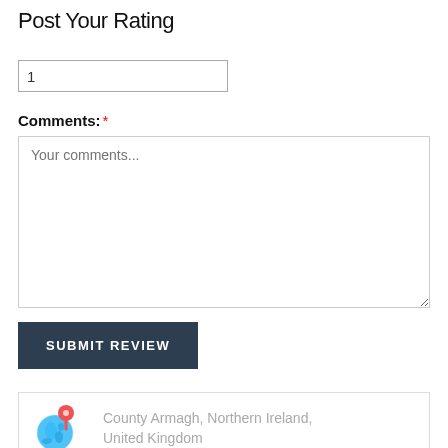Post Your Rating
1
Comments: *
Your comments...
SUBMIT REVIEW
County Armagh, Northern Ireland, United Kingdom